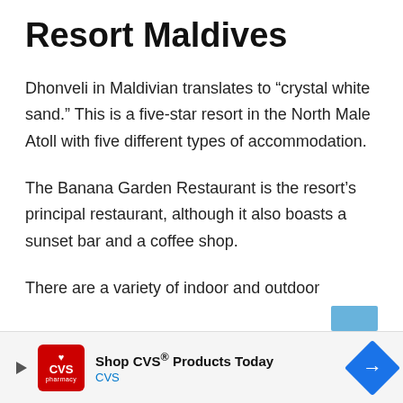Resort Maldives
Dhonveli in Maldivian translates to “crystal white sand.” This is a five-star resort in the North Male Atoll with five different types of accommodation.
The Banana Garden Restaurant is the resort’s principal restaurant, although it also boasts a sunset bar and a coffee shop.
There are a variety of indoor and outdoor
[Figure (other): CVS pharmacy advertisement banner at bottom of page showing CVS logo, 'Shop CVS® Products Today' text, and a blue directional arrow icon]